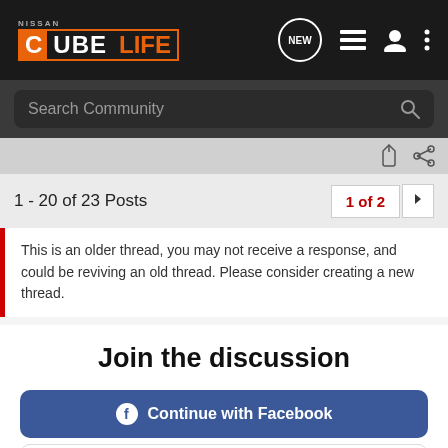[Figure (logo): Nissan Cube Life logo in orange and white on dark background with navigation icons (NEW chat bubble, list, user, dots menu)]
Search Community
1 - 20 of 23 Posts
1 of 2
This is an older thread, you may not receive a response, and could be reviving an old thread. Please consider creating a new thread.
Join the discussion
Continue with Facebook
Continue with Google
or sign up with email